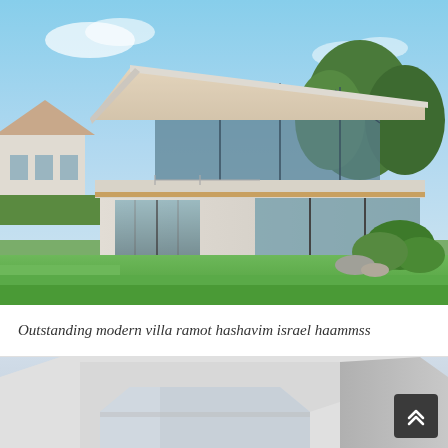[Figure (photo): Modern villa with glass facade, triangular roof structure, large sliding glass doors at ground level, green lawn in foreground, trees and neighboring house in background, sunny day]
Outstanding modern villa ramot hashavim israel haammss
[Figure (photo): Close-up view of a modern white architectural structure, angular geometric form against a pale blue sky, appears to be a building corner or sculptural element]